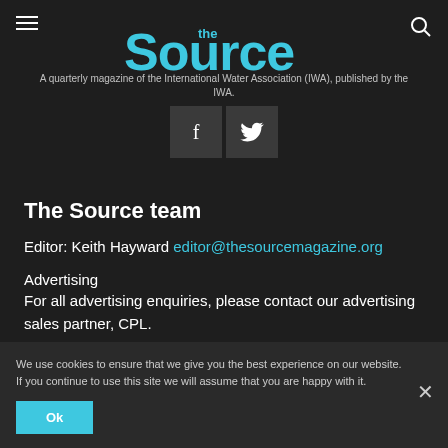[Figure (logo): The Source magazine logo - cyan/teal styled text on dark background]
A quarterly magazine of the International Water Association (IWA), published by the IWA.
[Figure (infographic): Social media icons: Facebook and Twitter buttons]
The Source team
Editor: Keith Hayward editor@thesourcemagazine.org
Advertising
For all advertising enquiries, please contact our advertising sales partner, CPL.
Commercial Manager (CPL): John Wheaton
john.wheaton@cpl.co.uk
T: +44 (0) 1223 378 042
For other publishing enquiries, please contact Keith Hayward on
We use cookies to ensure that we give you the best experience on our website. If you continue to use this site we will assume that you are happy with it.